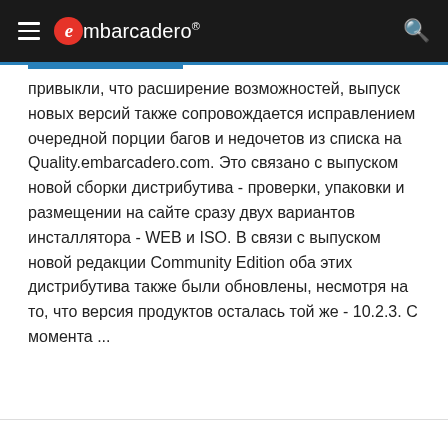embarcadero®
привыкли, что расширение возможностей, выпуск новых версий также сопровождается исправлением очередной порции багов и недочетов из списка на Quality.embarcadero.com. Это связано с выпуском новой сборки дистрибутива - проверки, упаковки и размещении на сайте сразу двух вариантов инсталлятора - WEB и ISO. В связи с выпуском новой редакции Community Edition оба этих дистрибутива также были обновлены, несмотря на то, что версия продуктов осталась той же - 10.2.3. С момента ...
TAGS: 10.2 Tokyo  10.2.3  10.2.3 Tokyo  C++ Builder  Community Edition  Delphi  ISO  RAD Server  RAD Studio
Continue reading  Leave comment